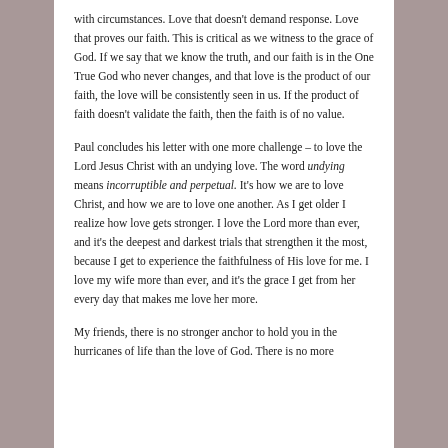with circumstances. Love that doesn't demand response. Love that proves our faith. This is critical as we witness to the grace of God. If we say that we know the truth, and our faith is in the One True God who never changes, and that love is the product of our faith, the love will be consistently seen in us. If the product of faith doesn't validate the faith, then the faith is of no value.
Paul concludes his letter with one more challenge – to love the Lord Jesus Christ with an undying love. The word undying means incorruptible and perpetual. It's how we are to love Christ, and how we are to love one another. As I get older I realize how love gets stronger. I love the Lord more than ever, and it's the deepest and darkest trials that strengthen it the most, because I get to experience the faithfulness of His love for me. I love my wife more than ever, and it's the grace I get from her every day that makes me love her more.
My friends, there is no stronger anchor to hold you in the hurricanes of life than the love of God. There is no more